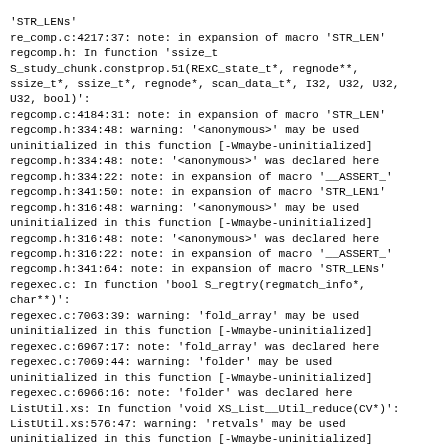'STR_LENs'
re_comp.c:4217:37: note: in expansion of macro 'STR_LEN'
regcomp.h: In function 'ssize_t S_study_chunk.constprop.51(RExC_state_t*, regnode**, ssize_t*, ssize_t*, regnode*, scan_data_t*, I32, U32, U32, U32, bool)':
regcomp.c:4184:31: note: in expansion of macro 'STR_LEN'
regcomp.h:334:48: warning: '<anonymous>' may be used uninitialized in this function [-Wmaybe-uninitialized]
regcomp.h:334:48: note: '<anonymous>' was declared here
regcomp.h:334:22: note: in expansion of macro '__ASSERT_'
regcomp.h:341:50: note: in expansion of macro 'STR_LEN1'
regcomp.h:316:48: warning: '<anonymous>' may be used uninitialized in this function [-Wmaybe-uninitialized]
regcomp.h:316:48: note: '<anonymous>' was declared here
regcomp.h:316:22: note: in expansion of macro '__ASSERT_'
regcomp.h:341:64: note: in expansion of macro 'STR_LENs'
regexec.c: In function 'bool S_regtry(regmatch_info*, char**)':
regexec.c:7063:39: warning: 'fold_array' may be used uninitialized in this function [-Wmaybe-uninitialized]
regexec.c:6967:17: note: 'fold_array' was declared here
regexec.c:7069:44: warning: 'folder' may be used uninitialized in this function [-Wmaybe-uninitialized]
regexec.c:6966:16: note: 'folder' was declared here
ListUtil.xs: In function 'void XS_List__Util_reduce(CV*)':
ListUtil.xs:576:47: warning: 'retvals' may be used uninitialized in this function [-Wmaybe-uninitialized]
ListUtil.xs:530:9: note: 'retvals' was declared here
regcomp.c: In function 'void S_pat_upgrade_to_utf8(PerlInterpreter*, RExC_state_t*, char**, STRLEN*, int)':